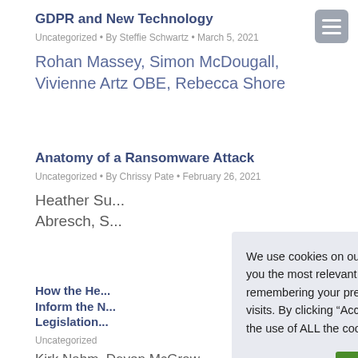GDPR and New Technology
Uncategorized • By Steffie Schwartz • March 5, 2021
Rohan Massey, Simon McDougall, Vivienne Artz OBE, Rebecca Shore
Anatomy of a Ransomware Attack
Uncategorized • By Chrissy Pate • February 26, 2021
Heather Su... Abresch, S...
How the He... Inform the N... Legislation...
Uncategorized
Kirk Nahm, Devon McGraw...
We use cookies on our website to give you the most relevant experience by remembering your preferences and repeat visits. By clicking “Accept”, you consent to the use of ALL the cookies.
Cookie settings
ACCEPT